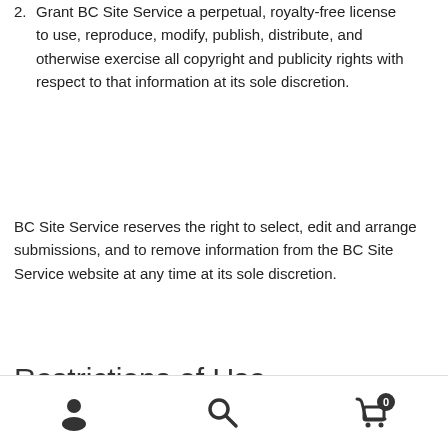2. Grant BC Site Service a perpetual, royalty-free license to use, reproduce, modify, publish, distribute, and otherwise exercise all copyright and publicity rights with respect to that information at its sole discretion.
BC Site Service reserves the right to select, edit and arrange submissions, and to remove information from the BC Site Service website at any time at its sole discretion.
Restrictions of Use